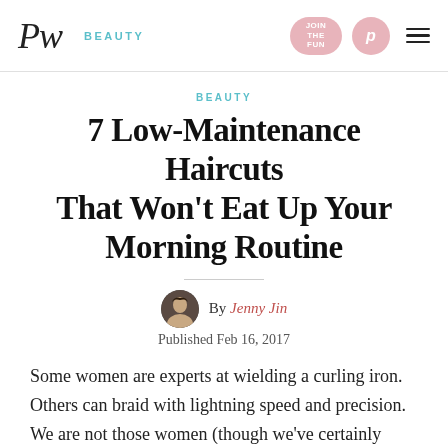PW | BEAUTY
BEAUTY
7 Low-Maintenance Haircuts That Won't Eat Up Your Morning Routine
By Jenny Jin
Published Feb 16, 2017
Some women are experts at wielding a curling iron. Others can braid with lightning speed and precision. We are not those women (though we've certainly tried on occasion). Thankfully, with the right cut you can get by with minimal effort and still look put-together. Here, some of our favorite ladies and their